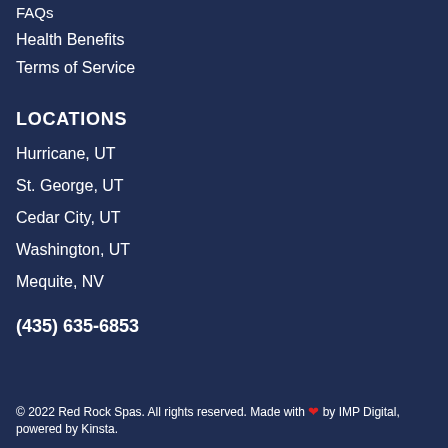FAQs
Health Benefits
Terms of Service
LOCATIONS
Hurricane, UT
St. George, UT
Cedar City, UT
Washington, UT
Mequite, NV
(435) 635-6853
© 2022 Red Rock Spas. All rights reserved. Made with ❤ by IMP Digital, powered by Kinsta.